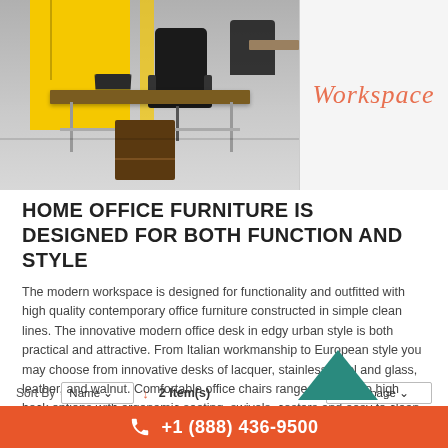[Figure (photo): Modern office workspace photo showing ergonomic chairs, yellow accent panels, wooden desk, and laptop]
HOME OFFICE FURNITURE IS DESIGNED FOR BOTH FUNCTION AND STYLE
The modern workspace is designed for functionality and outfitted with high quality contemporary office furniture constructed in simple clean lines. The innovative modern office desk in edgy urban style is both practical and attractive. From Italian workmanship to European style you may choose from innovative desks of lacquer, stainless steel and glass, leather, and walnut. Comfortable office chairs range from low to high back options with ergonomic seating, swivels, castors and easy to clean materials.
Home > WORKSPACE
Sort By  Name ▼  ↓  2 Item(s)  96 per page ▼
+1 (888) 436-9500